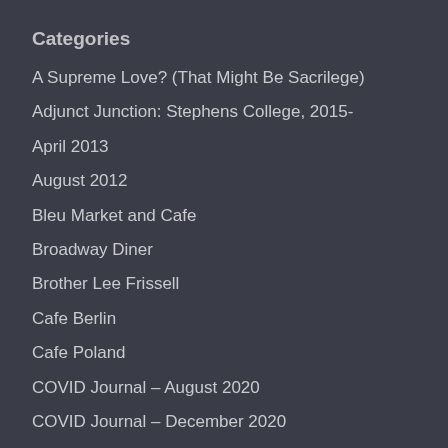Categories
A Supreme Love? (That Might Be Sacrilege)
Adjunct Junction: Stephens College, 2015-
April 2013
August 2012
Bleu Market and Cafe
Broadway Diner
Brother Lee Frissell
Cafe Berlin
Cafe Poland
COVID Journal – August 2020
COVID Journal – December 2020
COVID Journal – February 2021